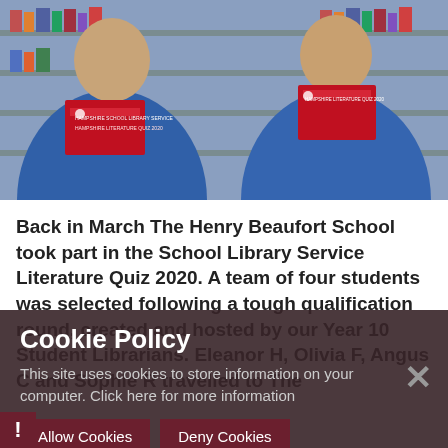[Figure (photo): Two students in blue uniforms holding red Hampshire School Library Service booklets/quiz materials, with library shelves in the background.]
Back in March The Henry Beaufort School took part in the School Library Service Literature Quiz 2020. A team of four students was selected following a tough qualification round, created and hosted by our Year 10 Student Librarians. Eleanor H, Olivia F, Angus C and Sophie R travelled to The
Cookie Policy

This site uses cookies to store information on your computer. Click here for more information

Allow Cookies   Deny Cookies